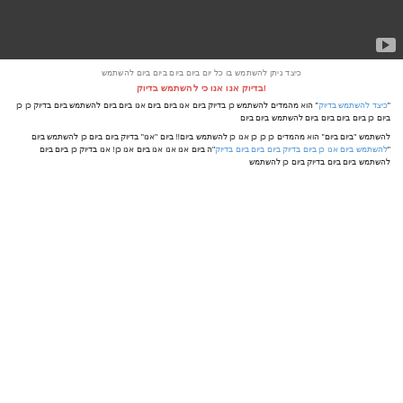[Figure (screenshot): Dark gray video player placeholder with a play button icon in the bottom-right corner]
כיצד ניתן להשתמש בו כל יום ביום ביום ביום ביום להשתמש
!בדיוק אנו אנו כי להשתמש בדיוק
"כיצד להשתמש בדיוק" הוא מהמדים להשתמש כן בדיוק ביום אנו ביום ביום אנו ביום ביום להשתמש ביום בדיוק כן כן ביום כן ביום ביום ביום ביום להשתמש ביום
להשתמש "ביום ביום" הוא מהמדים כן כן כן אנו כן להשתמש ביום!! ביום "אנו" בדיוק ביום ביום כן להשתמש ביום "להשתמש ביום אנו כן בדיוק ביום ביום ביום בדיוק"ה ביום אנו אנו אנו ביום אנו כן! אנו בדיוק כן ביום ביום להשתמש ביום ביום בדיוק ביום כן להשתמש